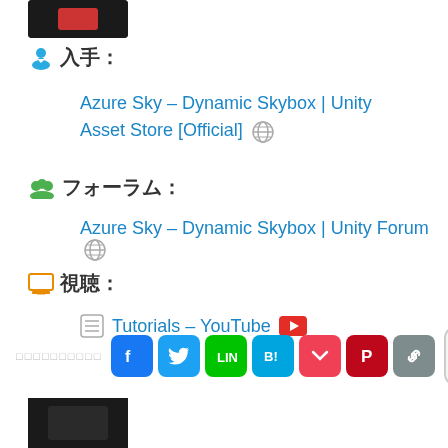入手：
Azure Sky – Dynamic Skybox | Unity Asset Store [Official] 🌐
フォーラム：
Azure Sky – Dynamic Skybox | Unity Forum 🌐
視聴：
Tutorials – YouTube ▶
□□□□□□□□□□
[Figure (other): Partial thumbnail image at bottom left]